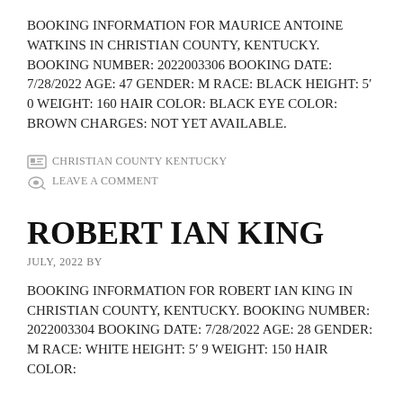BOOKING INFORMATION FOR MAURICE ANTOINE WATKINS IN CHRISTIAN COUNTY, KENTUCKY. BOOKING NUMBER: 2022003306 BOOKING DATE: 7/28/2022 AGE: 47 GENDER: M RACE: BLACK HEIGHT: 5' 0 WEIGHT: 160 HAIR COLOR: BLACK EYE COLOR: BROWN CHARGES: NOT YET AVAILABLE.
CHRISTIAN COUNTY KENTUCKY
LEAVE A COMMENT
ROBERT IAN KING
JULY, 2022 BY
BOOKING INFORMATION FOR ROBERT IAN KING IN CHRISTIAN COUNTY, KENTUCKY. BOOKING NUMBER: 2022003304 BOOKING DATE: 7/28/2022 AGE: 28 GENDER: M RACE: WHITE HEIGHT: 5' 9 WEIGHT: 150 HAIR COLOR: